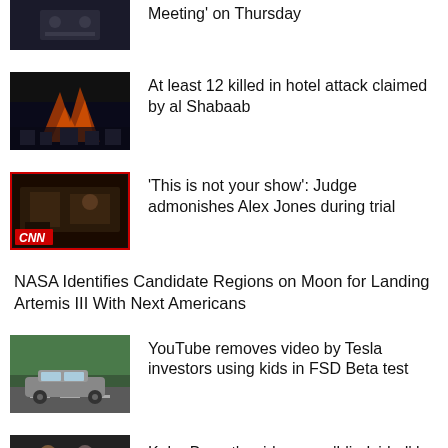[Figure (photo): Dark photo of person at a meeting or desk]
Meeting' on Thursday
[Figure (photo): Night fire/explosion scene]
At least 12 killed in hotel attack claimed by al Shabaab
[Figure (screenshot): CNN screenshot of courtroom scene with CNN logo]
'This is not your show': Judge admonishes Alex Jones during trial
NASA Identifies Candidate Regions on Moon for Landing Artemis III With Next Americans
[Figure (photo): Tesla car on road]
YouTube removes video by Tesla investors using kids in FSD Beta test
[Figure (photo): People/Kobe Bryant related photo]
Kobe Bryant's widow was 'blindsided' by leaked